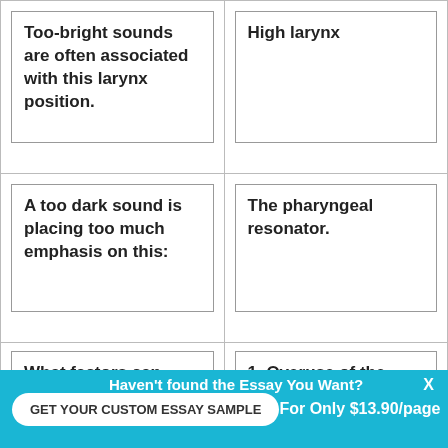| Too-bright sounds are often associated with this larynx position. | High larynx |
| A too dark sound is placing too much emphasis on this: | The pharyngeal resonator. |
| What factors can cause a too-dark sound? | 1. Overuse of the yawning muscles with resulting spread throat |
Haven't found the Essay You Want?
GET YOUR CUSTOM ESSAY SAMPLE
For Only $13.90/page